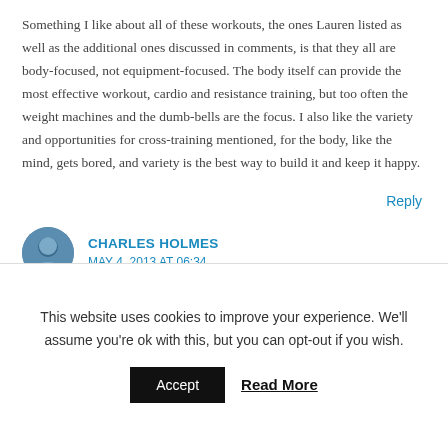Something I like about all of these workouts, the ones Lauren listed as well as the additional ones discussed in comments, is that they all are body-focused, not equipment-focused. The body itself can provide the most effective workout, cardio and resistance training, but too often the weight machines and the dumb-bells are the focus. I also like the variety and opportunities for cross-training mentioned, for the body, like the mind, gets bored, and variety is the best way to build it and keep it happy.
Reply
CHARLES HOLMES
MAY 4, 2013 AT 06:34
This website uses cookies to improve your experience. We'll assume you're ok with this, but you can opt-out if you wish.